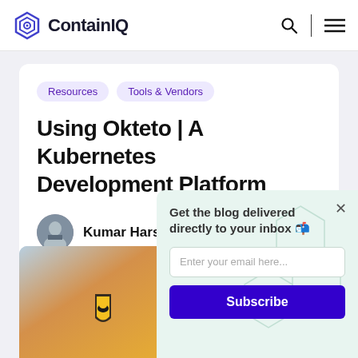ContainIQ
Resources
Tools & Vendors
Using Okteto | A Kubernetes Development Platform
Kumar Harsh · August 9, 2022
[Figure (photo): Partial view of an article hero image with an orange/amber gradient background and a shield icon with a bee graphic]
Get the blog delivered directly to your inbox 📬
Enter your email here...
Subscribe